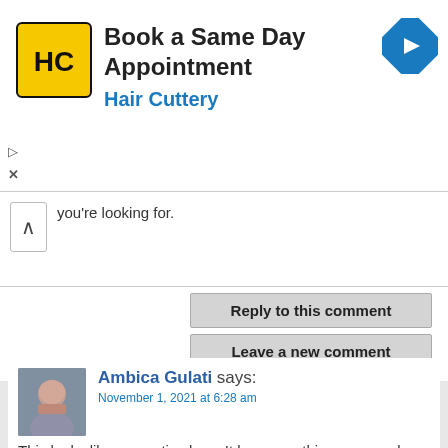[Figure (infographic): Hair Cuttery advertisement banner: 'Book a Same Day Appointment' with HC logo and navigation arrow icon]
you're looking for.
Reply to this comment
Leave a new comment
Ambica Gulati says:
November 1, 2021 at 6:28 am
This looks like an exotic place. It has everything you need–golf, polo, beach. There is even a club, sounds like a perfect holiday spot.
Paul Johnson says:
December 3, 2021 at 11:32 pm